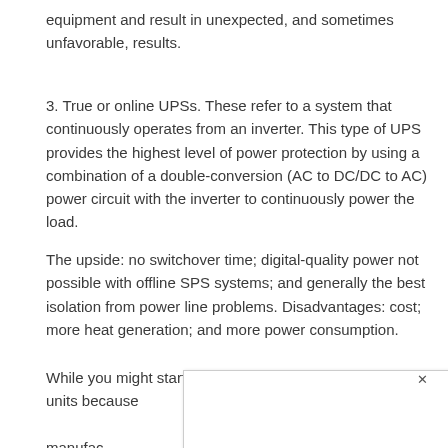equipment and result in unexpected, and sometimes unfavorable, results.
3. True or online UPSs. These refer to a system that continuously operates from an inverter. This type of UPS provides the highest level of power protection by using a combination of a double-conversion (AC to DC/DC to AC) power circuit with the inverter to continuously power the load.
The upside: no switchover time; digital-quality power not possible with offline SPS systems; and generally the best isolation from power line problems. Disadvantages: cost; more heat generation; and more power consumption.
While you might start questioning the reliability of these units because manufac